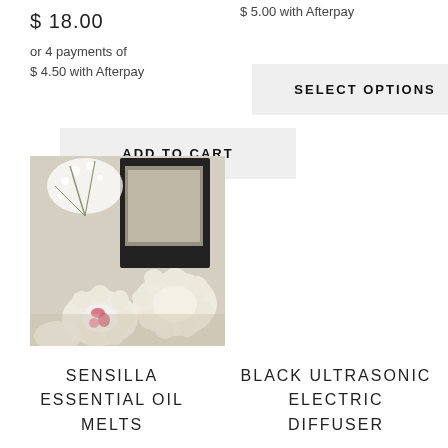$ 18.00
or 4 payments of $ 4.50 with Afterpay
$ 5.00 with Afterpay
SELECT OPTIONS
ADD TO CART
[Figure (photo): Wax melt tarts in flower shapes displayed in front of a black box packaging with white flowers in the background]
SENSILLA ESSENTIAL OIL MELTS
BLACK ULTRASONIC ELECTRIC DIFFUSER